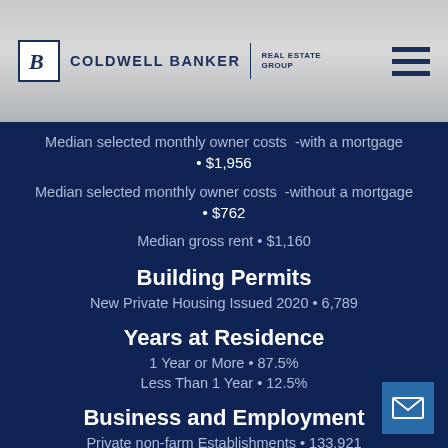Coldwell Banker Real Estate Group
Median selected monthly owner costs -with a mortgage • $1,956
Median selected monthly owner costs -without a mortgage • $762
Median gross rent • $1,160
Building Permits
New Private Housing Issued 2020 • 6,789
Years at Residence
1 Year or More • 87.5%
Less Than 1 Year • 12.5%
Business and Employment
Private non-farm Establishments • 133,921
Private non-farm Employment • 2,448,843